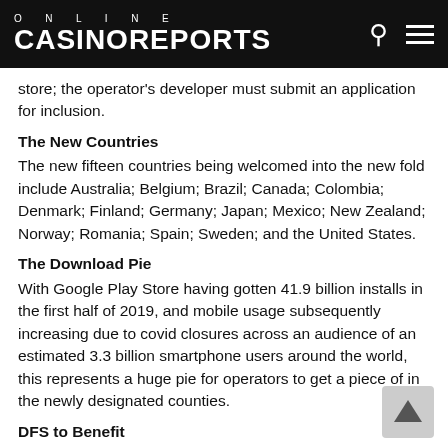ONLINE CASINOREPORTS
store; the operator's developer must submit an application for inclusion.
The New Countries
The new fifteen countries being welcomed into the new fold include Australia; Belgium; Brazil; Canada; Colombia; Denmark; Finland; Germany; Japan; Mexico; New Zealand; Norway; Romania; Spain; Sweden; and the United States.
The Download Pie
With Google Play Store having gotten 41.9 billion installs in the first half of 2019, and mobile usage subsequently increasing due to covid closures across an audience of an estimated 3.3 billion smartphone users around the world, this represents a huge pie for operators to get a piece of in the newly designated counties.
DFS to Benefit
The expansion bodes well for DFS Daily Fantasy